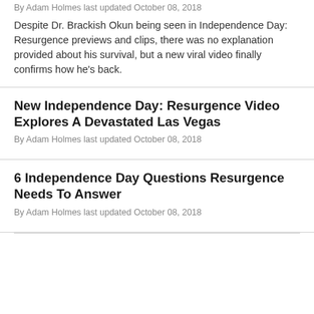By Adam Holmes last updated October 08, 2018
Despite Dr. Brackish Okun being seen in Independence Day: Resurgence previews and clips, there was no explanation provided about his survival, but a new viral video finally confirms how he's back.
New Independence Day: Resurgence Video Explores A Devastated Las Vegas
By Adam Holmes last updated October 08, 2018
6 Independence Day Questions Resurgence Needs To Answer
By Adam Holmes last updated October 08, 2018